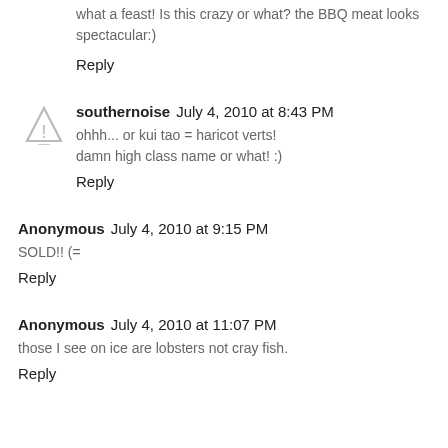what a feast! Is this crazy or what? the BBQ meat looks spectacular:)
Reply
southernoise  July 4, 2010 at 8:43 PM
ohhh... or kui tao = haricot verts!
damn high class name or what! :)
Reply
Anonymous  July 4, 2010 at 9:15 PM
SOLD!! (=
Reply
Anonymous  July 4, 2010 at 11:07 PM
those I see on ice are lobsters not cray fish.
Reply